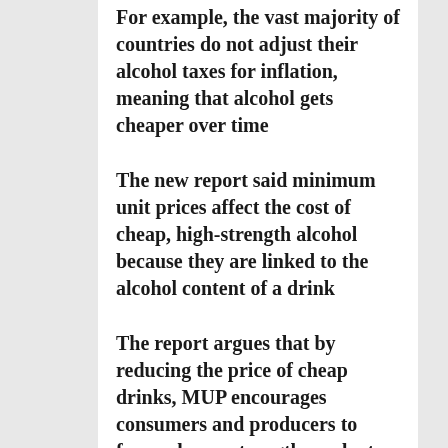For example, the vast majority of countries do not adjust their alcohol taxes for inflation, meaning that alcohol gets cheaper over time
The new report said minimum unit prices affect the cost of cheap, high-strength alcohol because they are linked to the alcohol content of a drink
The report argues that by reducing the price of cheap drinks, MUP encourages consumers and producers to favour lower-strength products
Minimum pricing policies can effectively target these drinkers and consequently can reduce health